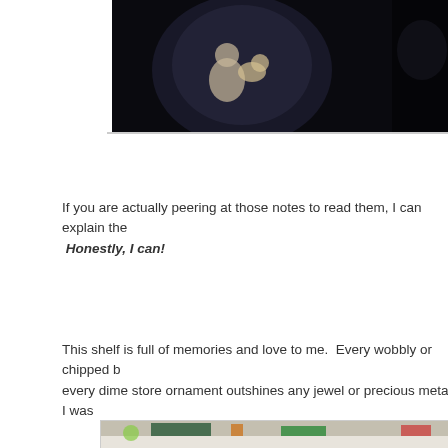[Figure (photo): Photo showing a decorative figurine (cherub/angel with a dog) on a plate against a dark background]
If you are actually peering at those notes to read them, I can explain the Honestly, I can!
This shelf is full of memories and love to me. Every wobbly or chipped b every dime store ornament outshines any jewel or precious metal I was
[Figure (photo): Photo of a shelf with various toys and ornaments including a 'Grandma' chalkboard sign, figurines, a green decorative box with flowers, and colorful items]